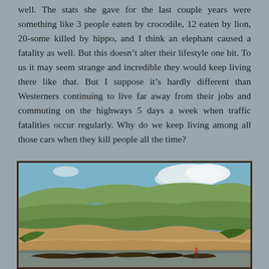well. The stats she gave for the last couple years were something like 3 people eaten by crocodile, 12 eaten by lion, 20-some killed by hippo, and I think an elephant caused a fatality as well. But this doesn't alter their lifestyle one bit. To us it may seem strange and incredible they would keep living there like that. But I suppose it's hardly different than Westerners continuing to live far away from their jobs and commuting on the highways 5 days a week when traffic fatalities occur regularly. Why do we keep living among all those cars when they kill people all the time?
[Figure (photo): Outdoor landscape photograph showing a river or lakeshore with small wooden boats moored in the foreground, sandy/muddy banks, green hills in the background, and a partly cloudy blue sky. A person in a red shirt stands near the boats.]